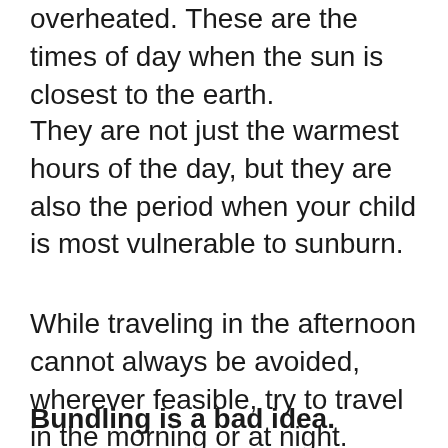overheated. These are the times of day when the sun is closest to the earth.
They are not just the warmest hours of the day, but they are also the period when your child is most vulnerable to sunburn.
While traveling in the afternoon cannot always be avoided, wherever feasible, try to travel in the morning or at night.
Bundling is a bad idea.